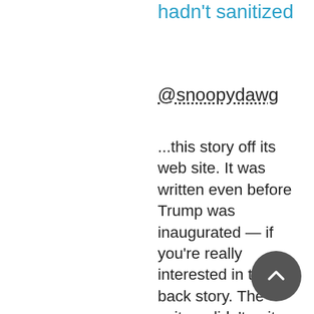hadn't sanitized
@snoopydawg
...this story off its web site. It was written even before Trump was inaugurated — if you're really interested in the back story. The writers didn't quite understand what they were writing about. They are just parroting the CIA/State Department narrative, but the more they write, the more they realize that the